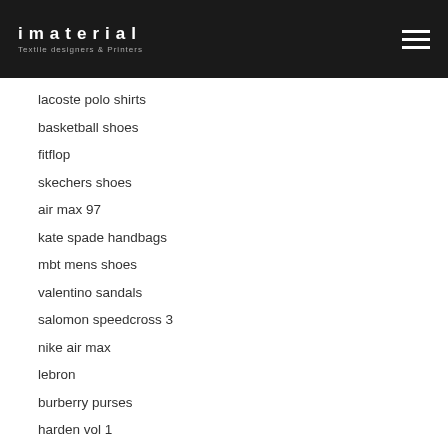imaterial – Textile designers & Printers
lacoste polo shirts
basketball shoes
fitflop
skechers shoes
air max 97
kate spade handbags
mbt mens shoes
valentino sandals
salomon speedcross 3
nike air max
lebron
burberry purses
harden vol 1
nike air max 95 mens
true religion jeans for women